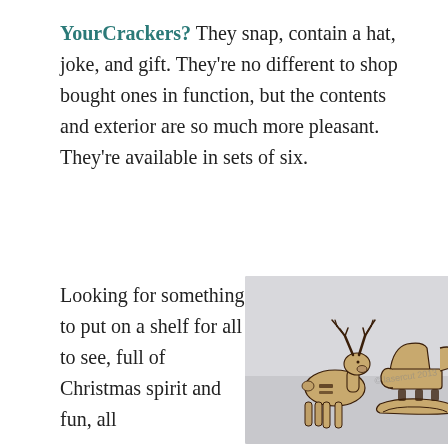YourCrackers? They snap, contain a hat, joke, and gift. They're no different to shop bought ones in function, but the contents and exterior are so much more pleasant. They're available in sets of six.
Looking for something to put on a shelf for all to see, full of Christmas spirit and fun, all
[Figure (photo): Wooden laser-cut reindeer figurine and sleigh decoration on a light grey/white background]